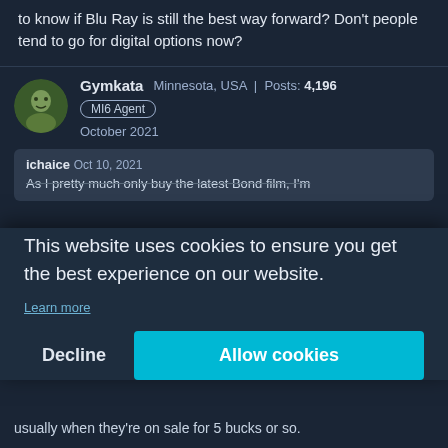to know if Blu Ray is still the best way forward? Don't people tend to go for digital options now?
Gymkata   Minnesota, USA   Posts: 4,196   MI6 Agent   October 2021
ichaice   Oct 10, 2021
As I pretty much only buy the latest Bond film, I'm...
This website uses cookies to ensure you get the best experience on our website.
Learn more
Decline
Allow cookies
usually when they're on sale for 5 bucks or so.